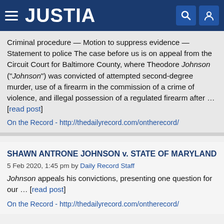JUSTIA
Criminal procedure — Motion to suppress evidence — Statement to police The case before us is on appeal from the Circuit Court for Baltimore County, where Theodore Johnson ("Johnson") was convicted of attempted second-degree murder, use of a firearm in the commission of a crime of violence, and illegal possession of a regulated firearm after … [read post]
On the Record - http://thedailyrecord.com/ontherecord/
SHAWN ANTRONE JOHNSON v. STATE OF MARYLAND
5 Feb 2020, 1:45 pm by Daily Record Staff
Johnson appeals his convictions, presenting one question for our … [read post]
On the Record - http://thedailyrecord.com/ontherecord/